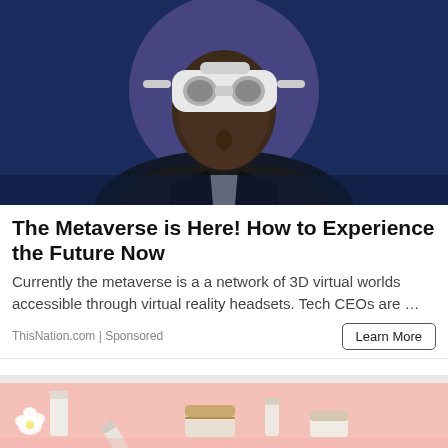[Figure (photo): Person wearing a white VR headset against a dark blue background with a purple circular glow. The subject is looking upward, wearing a black leather jacket. The image has a futuristic, tech aesthetic.]
The Metaverse is Here! How to Experience the Future Now
Currently the metaverse is a a network of 3D virtual worlds accessible through virtual reality headsets. Tech CEOs are …
ThisNation.com | Sponsored
[Figure (photo): Flat lay of cosmetic products on a pink background, including cream jars and small bottles with white flowers.]